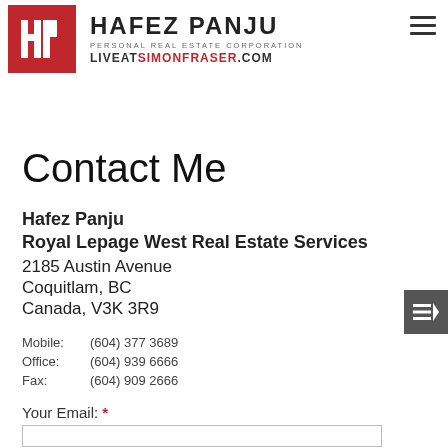[Figure (logo): Hafez Panju Personal Real Estate Corporation logo with red HP monogram box and text HAFEZ PANJU / LIVEATSIMONFRASER.COM]
Contact Me
Hafez Panju
Royal Lepage West Real Estate Services
2185 Austin Avenue
Coquitlam, BC
Canada, V3K 3R9
Mobile: (604) 377 3689
Office: (604) 939 6666
Fax: (604) 909 2666
Your Email: *